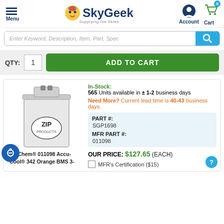[Figure (logo): SkyGeek logo with cartoon character and text 'Supplying the Skies']
Enter Keyword, Description, Item, Part, Spec
QTY: 1  ADD TO CART
[Figure (photo): Zip-Chem product in a white rectangular metal can with 'ZIP Products' label]
In-Stock: 565 Units available in ± 1-2 business days Need More? Current lead time is 40-43 business days.
| PART #: | SGP1698 |
| MFR PART #: | 011098 |
OUR PRICE: $127.65 (EACH)
MFR's Certification ($15)
Zip-Chem® 011098 Accu-Cool® 342 Orange BMS 3-